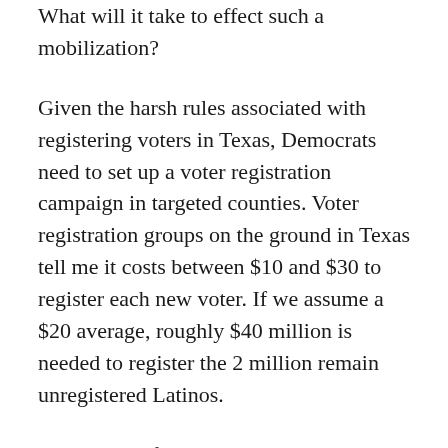What will it take to effect such a mobilization?
Given the harsh rules associated with registering voters in Texas, Democrats need to set up a voter registration campaign in targeted counties. Voter registration groups on the ground in Texas tell me it costs between $10 and $30 to register each new voter. If we assume a $20 average, roughly $40 million is needed to register the 2 million remain unregistered Latinos.
That's a lot of money, which makes mobilization a daunting task. But that's also what makes the prospect of revolutionizing state politics through massive mobilization so exciting. If Democrats can do it, they will forge a new era. As I have argued previously, the biggest and most important electoral cornerstone for Republicans in presidential contests is Texas. Without it, the idea of keeping the Republicans in the White...